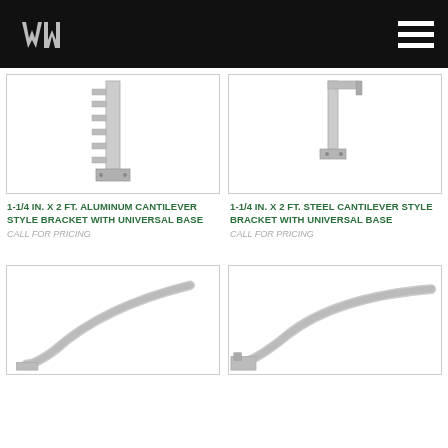WM Logo and navigation header
[Figure (photo): 1-1/4 in. x 2 ft. aluminum cantilever style bracket with universal base product photo]
1-1/4 IN. X 2 FT. ALUMINUM CANTILEVER STYLE BRACKET WITH UNIVERSAL BASE
CALL FOR PRICING
[Figure (photo): 1-1/4 in. x 2 ft. steel cantilever style bracket with universal base product photo]
1-1/4 IN. X 2 FT. STEEL CANTILEVER STYLE BRACKET WITH UNIVERSAL BASE
CALL FOR PRICING
[Figure (photo): Curved bracket arm product photo, bottom left]
[Figure (photo): Curved bracket arm product photo, bottom right]